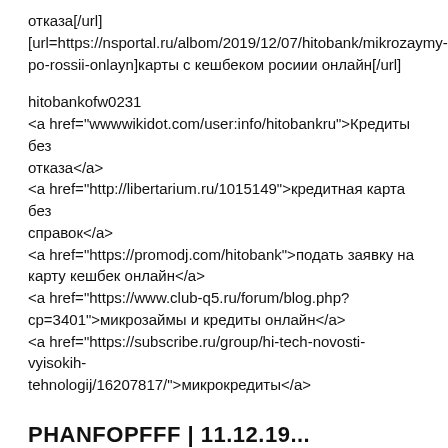отказа[/url]
[url=https://nsportal.ru/albom/2019/12/07/hitobank/mikrozaymy-po-rossii-onlayn]карты с кешбеком росиии онлайн[/url]
hitobankofw0231
<a href="wwwwikidot.com/user:info/hitobankru">Кредиты без отказа</a>
<a href="http://libertarium.ru/1015149">кредитная карта без справок</a>
<a href="https://promodj.com/hitobank">подать заявку на карту кешбек онлайн</a>
<a href="https://www.club-q5.ru/forum/blog.php?cp=3401">микрозаймы и кредиты онлайн</a>
<a href="https://subscribe.ru/group/hi-tech-novosti-vyisokih-tehnologij/16207817/">микрокредиты</a>
PHANFOPFFF | 11.12.19...